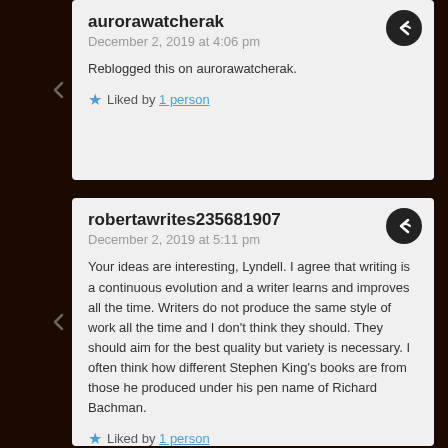aurorawatcherak
December 2, 2019 at 4:06 pm
Reblogged this on aurorawatcherak.
Liked by 1 person
robertawrites235681907
December 2, 2019 at 5:11 pm
Your ideas are interesting, Lyndell. I agree that writing is a continuous evolution and a writer learns and improves all the time. Writers do not produce the same style of work all the time and I don't think they should. They should aim for the best quality but variety is necessary. I often think how different Stephen King's books are from those he produced under his pen name of Richard Bachman.
Liked by 1 person